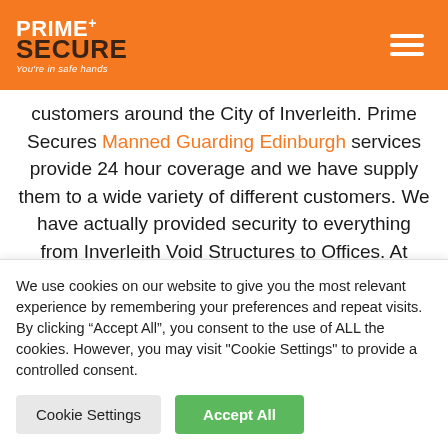PRIME+ SECURE You're in safe hands
customers around the City of Inverleith. Prime Secures Manned Guarding Edinburgh services provide 24 hour coverage and we have supply them to a wide variety of different customers. We have actually provided security to everything from Inverleith Void Structures to Offices. At Prime Secure, we focus on guaranteeing our Security Guards offer service that fits the specific requirements of our customers. Prime Secure is among the very best
We use cookies on our website to give you the most relevant experience by remembering your preferences and repeat visits. By clicking “Accept All”, you consent to the use of ALL the cookies. However, you may visit "Cookie Settings" to provide a controlled consent.